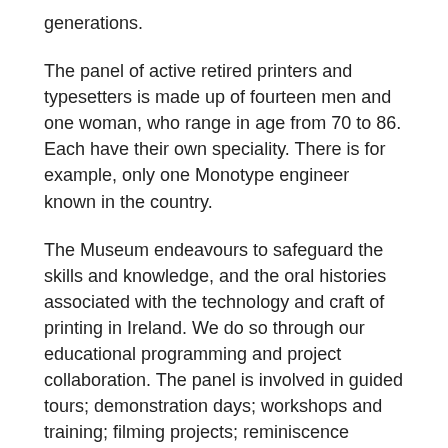generations.
The panel of active retired printers and typesetters is made up of fourteen men and one woman, who range in age from 70 to 86. Each have their own speciality. There is for example, only one Monotype engineer known in the country.
The Museum endeavours to safeguard the skills and knowledge, and the oral histories associated with the technology and craft of printing in Ireland. We do so through our educational programming and project collaboration. The panel is involved in guided tours; demonstration days; workshops and training; filming projects; reminiscence events and oral history projects.
There are a number of small private presses operating in the country today. The Museum works with this community with regards to the transfer of knowledge and skills for their own practice and for the future preservation of the craft for the nation at the Museum. Members of this community work with the Museum, taking part in training programmes and in turn delivering workshops with members of the public at the Museum.